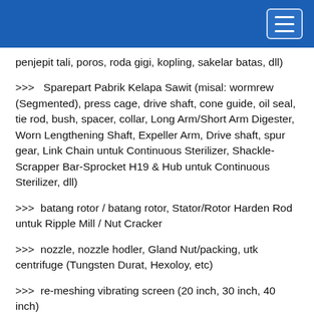penjepit tali, poros, roda gigi, kopling, sakelar batas, dll)
>>>   Sparepart Pabrik Kelapa Sawit (misal: wormrew (Segmented), press cage, drive shaft, cone guide, oil seal, tie rod, bush, spacer, collar, Long Arm/Short Arm Digester, Worn Lengthening Shaft, Expeller Arm, Drive shaft, spur gear, Link Chain untuk Continuous Sterilizer, Shackle-Scrapper Bar-Sprocket H19 & Hub untuk Continuous Sterilizer, dll)
>>>   batang rotor / batang rotor, Stator/Rotor Harden Rod untuk Ripple Mill / Nut Cracker
>>>   nozzle, nozzle hodler, Gland Nut/packing, utk centrifuge (Tungsten Durat, Hexoloy, etc)
>>>   re-meshing vibrating screen (20 inch, 30 inch, 40 inch)